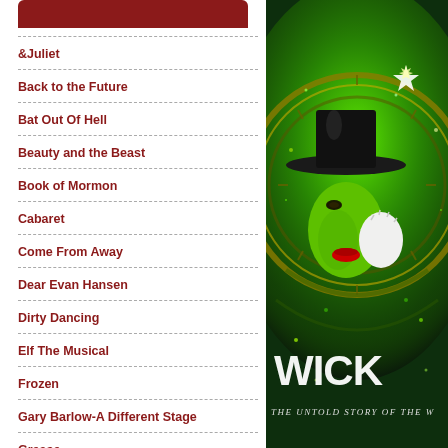[Figure (illustration): Red rounded rectangle bar at top left, decorative header element]
&Juliet
Back to the Future
Bat Out Of Hell
Beauty and the Beast
Book of Mormon
Cabaret
Come From Away
Dear Evan Hansen
Dirty Dancing
Elf The Musical
Frozen
Gary Barlow-A Different Stage
Grease
[Figure (photo): Wicked musical poster - green-skinned witch with black hat surrounded by glowing green circular clock-like mechanism. Text reads WICKED and THE UNTOLD STORY OF THE W...]